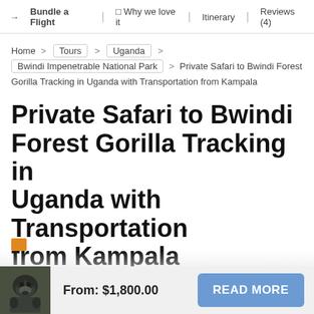→ Bundle a Flight  ♡ Why we love it  Itinerary  Reviews (4)
Home > Tours > Uganda > Bwindi Impenetrable National Park > Private Safari to Bwindi Forest Gorilla Tracking in Uganda with Transportation from Kampala
Private Safari to Bwindi Forest Gorilla Tracking in Uganda with Transportation from Kampala
★★★★★ (4 customer reviews)
From: $1,800.00
READ MORE